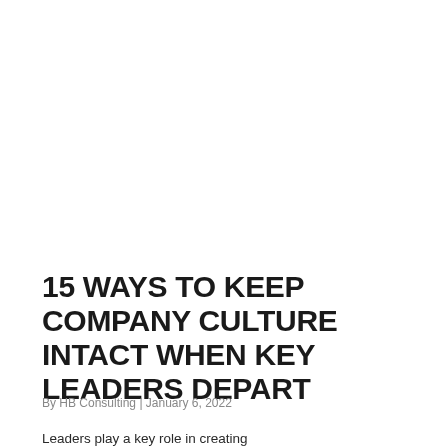15 WAYS TO KEEP COMPANY CULTURE INTACT WHEN KEY LEADERS DEPART
By HB Consulting | January 6, 2022
Leaders play a key role in creating